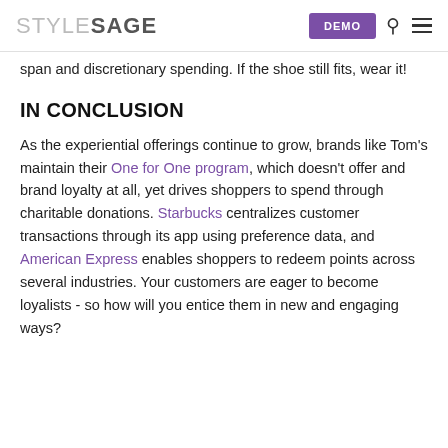STYLESAGE | DEMO
span and discretionary spending. If the shoe still fits, wear it!
IN CONCLUSION
As the experiential offerings continue to grow, brands like Tom's maintain their One for One program, which doesn't offer and brand loyalty at all, yet drives shoppers to spend through charitable donations. Starbucks centralizes customer transactions through its app using preference data, and American Express enables shoppers to redeem points across several industries. Your customers are eager to become loyalists - so how will you entice them in new and engaging ways?